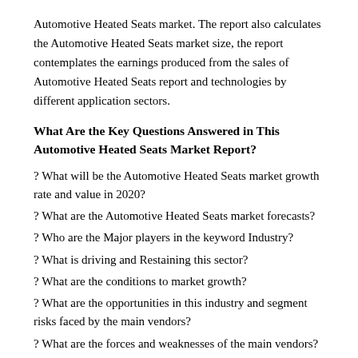Automotive Heated Seats market. The report also calculates the Automotive Heated Seats market size, the report contemplates the earnings produced from the sales of Automotive Heated Seats report and technologies by different application sectors.
What Are the Key Questions Answered in This Automotive Heated Seats Market Report?
? What will be the Automotive Heated Seats market growth rate and value in 2020?
? What are the Automotive Heated Seats market forecasts?
? Who are the Major players in the keyword Industry?
? What is driving and Restaining this sector?
? What are the conditions to market growth?
? What are the opportunities in this industry and segment risks faced by the main vendors?
? What are the forces and weaknesses of the main vendors?
Automotive Heated Seats Market Segment Analysis: